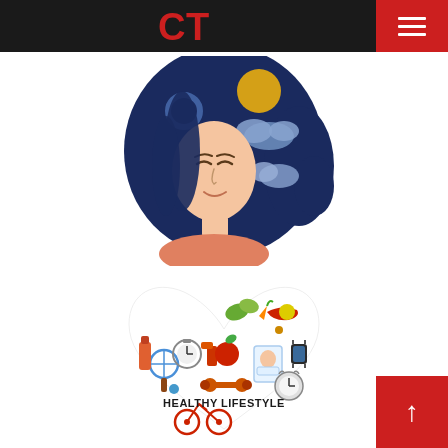CT logo and navigation menu
[Figure (illustration): Illustration of a serene woman with long dark hair styled to contain a night sky with moon and clouds, wearing a coral/salmon top, eyes closed, peaceful expression]
[Figure (illustration): Heart-shaped collage of healthy lifestyle icons including sports equipment, food, fitness trackers, alarm clock, scales, with text 'HEALTHY LIFESTYLE' in the center]